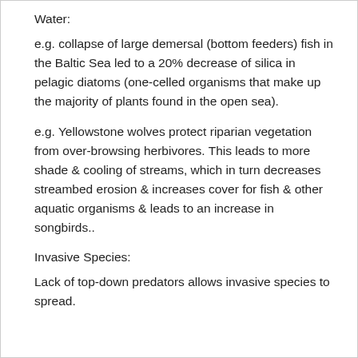Water:
e.g. collapse of large demersal (bottom feeders) fish in the Baltic Sea led to a 20% decrease of silica in pelagic diatoms (one-celled organisms that make up the majority of plants found in the open sea).
e.g. Yellowstone wolves protect riparian vegetation from over-browsing herbivores. This leads to more shade & cooling of streams, which in turn decreases streambed erosion & increases cover for fish & other aquatic organisms & leads to an increase in songbirds..
Invasive Species:
Lack of top-down predators allows invasive species to spread.